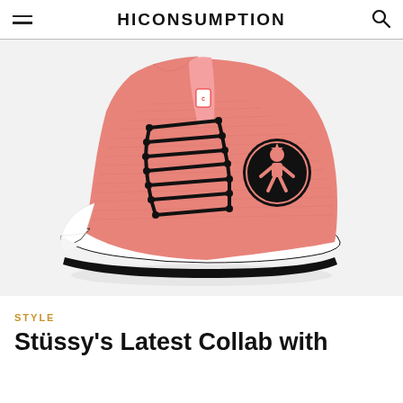HICONSUMPTION
[Figure (photo): A pink Converse Chuck Taylor All Star 70 Hi sneaker with black laces and a black Stüssy circular logo patch on the side, shown on a white background.]
STYLE
Stüssy's Latest Collab with